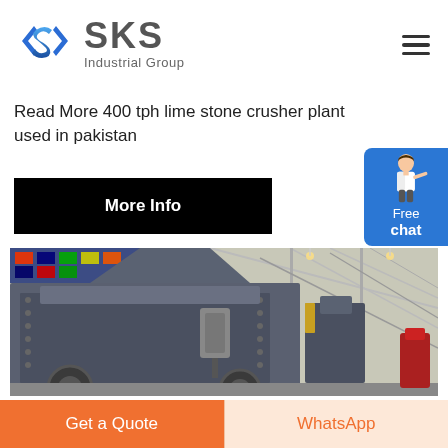[Figure (logo): SKS Industrial Group logo with blue angular S icon and grey text]
Read More 400 tph lime stone crusher plant used in pakistan
More Info
[Figure (photo): Industrial hammer crusher / impact crusher machine in a factory hall with international flags in the background]
[Figure (illustration): Free chat widget with a woman in business attire pointing, on blue background]
Get a Quote
WhatsApp